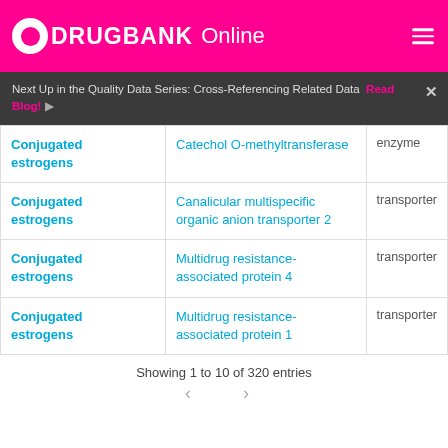DRUGBANK Online
Next Up in the Quality Data Series: Cross-Referencing Related Data  Read Blog!
| Drug | Target/Enzyme/Transporter | Type |
| --- | --- | --- |
| Conjugated estrogens | Catechol O-methyltransferase | enzyme |
| Conjugated estrogens | Canalicular multispecific organic anion transporter 2 | transporter |
| Conjugated estrogens | Multidrug resistance-associated protein 4 | transporter |
| Conjugated estrogens | Multidrug resistance-associated protein 1 | transporter |
Showing 1 to 10 of 320 entries